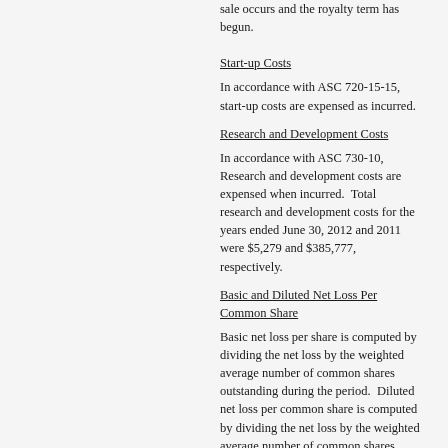sale occurs and the royalty term has begun.
Start-up Costs
In accordance with ASC 720-15-15, start-up costs are expensed as incurred.
Research and Development Costs
In accordance with ASC 730-10, Research and development costs are expensed when incurred. Total research and development costs for the years ended June 30, 2012 and 2011 were $5,279 and $385,777, respectively.
Basic and Diluted Net Loss Per Common Share
Basic net loss per share is computed by dividing the net loss by the weighted average number of common shares outstanding during the period. Diluted net loss per common share is computed by dividing the net loss by the weighted average number of common shares outstanding for the period and, if dilutive, potential common shares outstanding during the period. Potentially dilutive